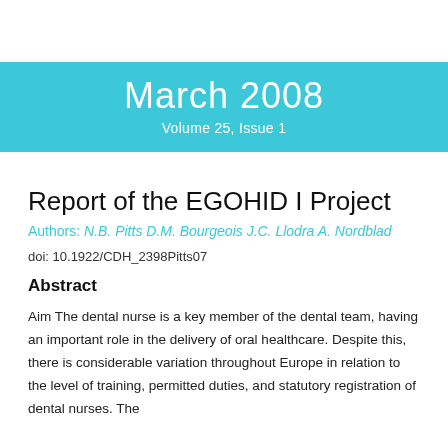March 2008
Volume 25, Issue 1
Report of the EGOHID I Project
Authors: N.B. Pitts D.M. Bourgeois J.C. Llodra A. Nordblad
doi: 10.1922/CDH_2398Pitts07
Abstract
Aim The dental nurse is a key member of the dental team, having an important role in the delivery of oral healthcare. Despite this, there is considerable variation throughout Europe in relation to the level of training, permitted duties, and statutory registration of dental nurses. The